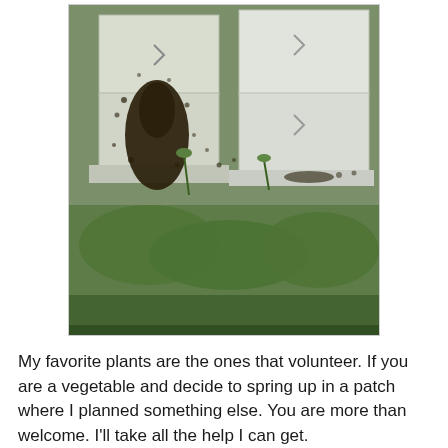[Figure (photo): Photograph of white beehive boxes with a swarm of bees clustered on the front of one hive, surrounded by green plants and grass on the ground.]
My favorite plants are the ones that volunteer. If you are a vegetable and decide to spring up in a patch where I planned something else. You are more than welcome. I'll take all the help I can get.
[Figure (photo): Partial view of another outdoor garden or nature photograph, mostly green tones, cropped at bottom of page.]